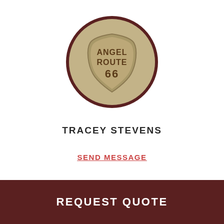[Figure (logo): Circular coin/medallion logo with a Route 66 shield design in the center, text reads ANGEL ROUTE 66, aged sandy-brown color with dark brown circular border]
TRACEY STEVENS
SEND MESSAGE
REQUEST QUOTE